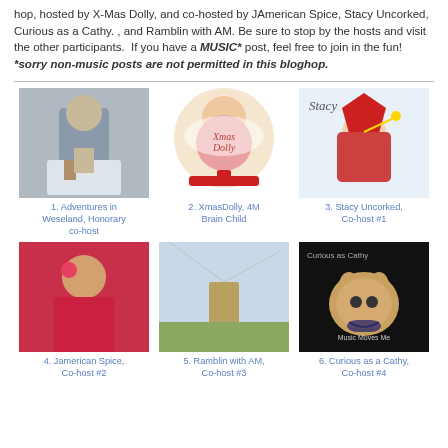hop, hosted by X-Mas Dolly, and co-hosted by JAmerican Spice, Stacy Uncorked, Curious as a Cathy. , and Ramblin with AM. Be sure to stop by the hosts and visit the other participants.  If you have a MUSIC* post, feel free to join in the fun! *sorry non-music posts are not permitted in this bloghop.
[Figure (photo): Profile photo of a man in a suit]
1. Adventures in Weseland, Honorary co-host
[Figure (illustration): XmasDolly logo - Betty Boop style character with Christmas theme]
2. XmasDolly, 4M Brain Child
[Figure (illustration): Stacy Uncorked logo - illustrated woman in Christmas hat]
3. Stacy Uncorked, Co-host #1
[Figure (photo): Photo of a woman with flower in hair, red outfit]
4. Jamerican Spice, Co-host #2
[Figure (photo): Photo of a tree or nature scene]
5. Ramblin with AM, Co-host #3
[Figure (illustration): Curious as a Cathy logo - cat with headphones on black background]
6. Curious as a Cathy, Co-host #4